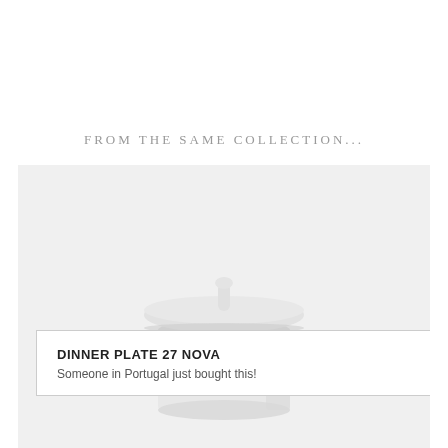FROM THE SAME COLLECTION...
[Figure (photo): A white ceramic lidded container/pot with a round knob on top, photographed on a light grey background. Only the upper portion of the item is visible.]
DINNER PLATE 27 NOVA
Someone in Portugal just bought this!